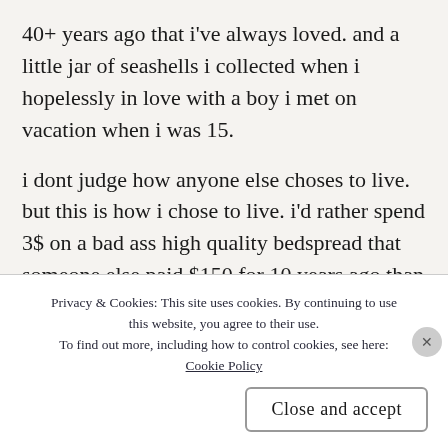40+ years ago that i've always loved. and a little jar of seashells i collected when i hopelessly in love with a boy i met on vacation when i was 15.
i dont judge how anyone else choses to live. but this is how i chose to live. i'd rather spend 3$ on a bad ass high quality bedspread that someone else paid $150 for 10 years ago than to EVER spend $150 on a bedspread. maybe that doesnt make me a weirdo.
Privacy & Cookies: This site uses cookies. By continuing to use this website, you agree to their use. To find out more, including how to control cookies, see here: Cookie Policy
Close and accept